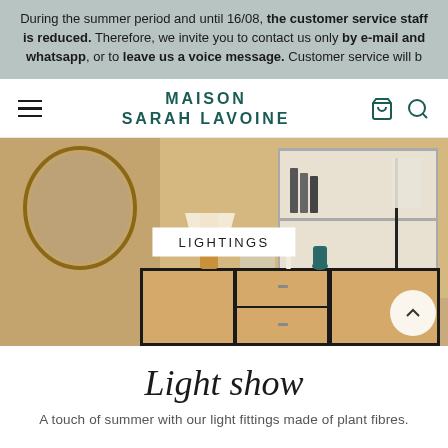During the summer period and until 16/08, the customer service staff is reduced. Therefore, we invite you to contact us only by e-mail and whatsapp, or to leave us a voice message. Customer service will b
MAISON SARAH LAVOINE
[Figure (photo): Interior room scene showing a dresser/sideboard with lamp, mirror, bookshelf, and floor lamp. A white label reading LIGHTINGS is overlaid in the center.]
Light show
A touch of summer with our light fittings made of plant fibres.